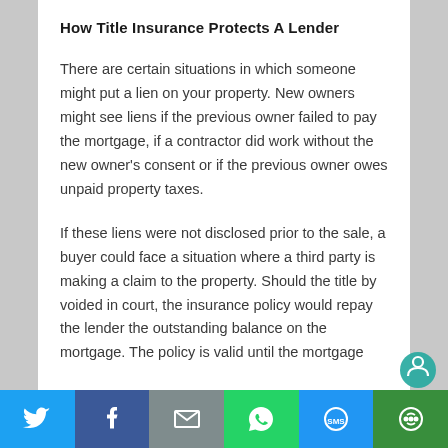How Title Insurance Protects A Lender
There are certain situations in which someone might put a lien on your property. New owners might see liens if the previous owner failed to pay the mortgage, if a contractor did work without the new owner’s consent or if the previous owner owes unpaid property taxes.
If these liens were not disclosed prior to the sale, a buyer could face a situation where a third party is making a claim to the property. Should the title by voided in court, the insurance policy would repay the lender the outstanding balance on the mortgage. The policy is valid until the mortgage
[Figure (infographic): Social media share bar with Twitter, Facebook, Email, WhatsApp, SMS, and Share buttons in a horizontal row at the bottom of the page]